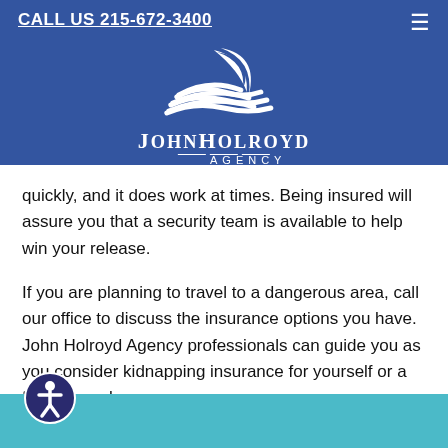CALL US 215-672-3400
[Figure (logo): John Holroyd Agency logo with wave/crescent graphic and text 'JOHN HOLROYD AGENCY' on blue background]
quickly, and it does work at times. Being insured will assure you that a security team is available to help win your release.
If you are planning to travel to a dangerous area, call our office to discuss the insurance options you have. John Holroyd Agency professionals can guide you as you consider kidnapping insurance for yourself or a family member.
[Figure (illustration): Accessibility icon — person in circle, white figure on dark teal circle]